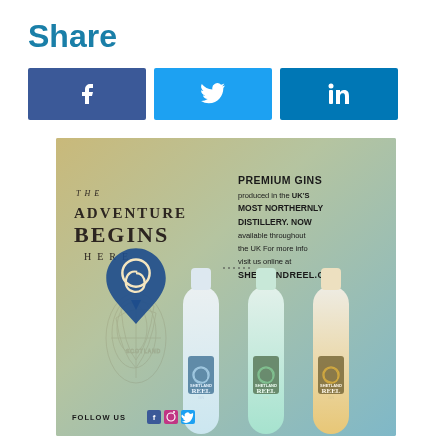Share
[Figure (infographic): Social share buttons: Facebook (blue, f icon), Twitter (light blue, bird icon), LinkedIn (dark blue, in icon)]
[Figure (advertisement): Shetland Reel Gin advertisement. Left side: 'THE ADVENTURE BEGINS HERE' in serif text with Shetland Reel logo (blue spiral/map pin). Right side: 'PREMIUM GINS produced in the UK'S MOST NORTHERNLY DISTILLERY. NOW available throughout the UK For more info visit us online at SHETLANDREEL.COM'. Bottom: three gin bottles and 'FOLLOW US' with social icons. Background: warm parchment/map texture blending into teal/blue.]